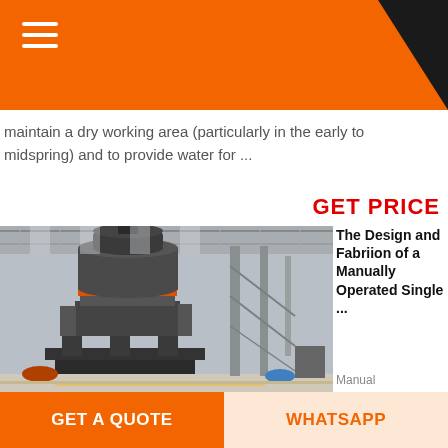Th... in th...
maintain a dry working area (particularly in the early to midspring) and to provide water for ...
GET PRICE
[Figure (photo): Industrial facility interior showing a large vertical roller mill or grinding machine on a platform, inside a large hall with steel truss roof structure.]
The Design and Fabriion of a Manually Operated Single ...
Manual method of seed planting,
results in low seed placement, spacing efficiencies and serious back ache for the farmer which limits the size of field that can be
GET A QUOTE
WHATSAPP